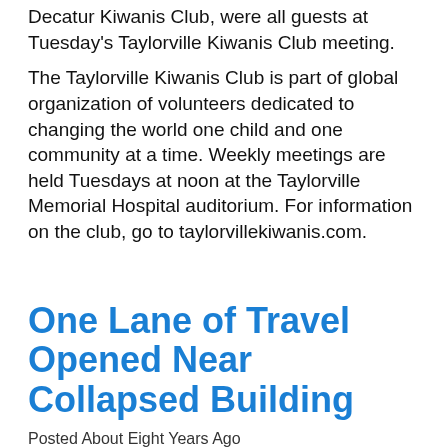Decatur Kiwanis Club, were all guests at Tuesday's Taylorville Kiwanis Club meeting.
The Taylorville Kiwanis Club is part of global organization of volunteers dedicated to changing the world one child and one community at a time. Weekly meetings are held Tuesdays at noon at the Taylorville Memorial Hospital auditorium. For information on the club, go to taylorvillekiwanis.com.
One Lane of Travel Opened Near Collapsed Building
Posted About Eight Years Ago
The Taylorville Fire Department has opened up one lane of travel on South and North Main Streets near the collapsed building. East Main Cross Street remains completely closed. A map of travel can be seen below: